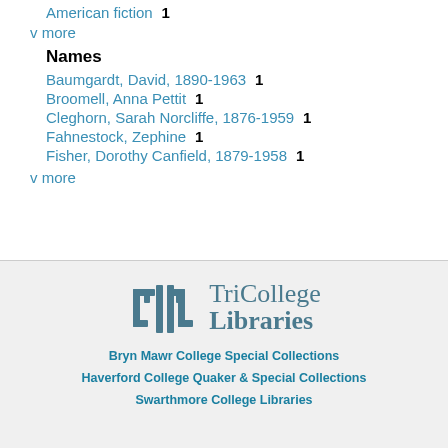American fiction  1
v more
Names
Baumgardt, David, 1890-1963  1
Broomell, Anna Pettit  1
Cleghorn, Sarah Norcliffe, 1876-1959  1
Fahnestock, Zephine  1
Fisher, Dorothy Canfield, 1879-1958  1
v more
[Figure (logo): TriCollege Libraries logo with stylized columns icon]
Bryn Mawr College Special Collections
Haverford College Quaker & Special Collections
Swarthmore College Libraries